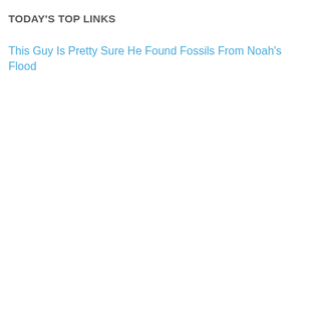TODAY'S TOP LINKS
This Guy Is Pretty Sure He Found Fossils From Noah's Flood